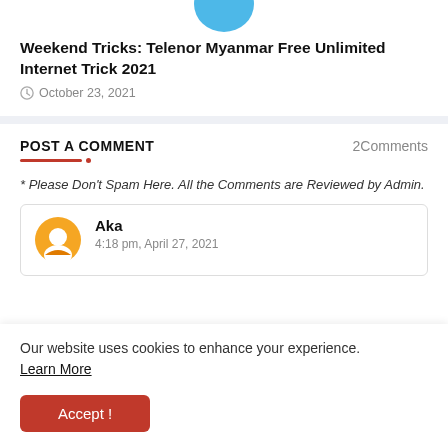[Figure (illustration): Partial blue oval/circle shape visible at top center of page, appears to be a thumbnail or icon cropped at the top]
Weekend Tricks: Telenor Myanmar Free Unlimited Internet Trick 2021
October 23, 2021
POST A COMMENT
2Comments
* Please Don't Spam Here. All the Comments are Reviewed by Admin.
Aka
4:18 pm, April 27, 2021
Our website uses cookies to enhance your experience.
Learn More
Accept !